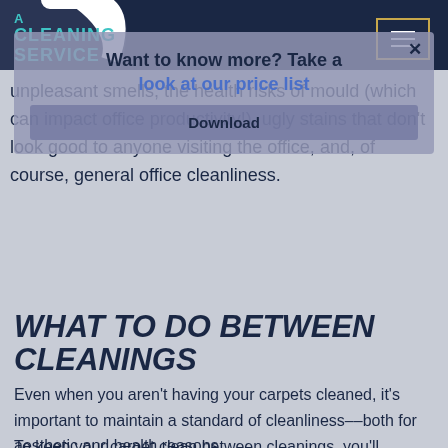A CLEANING SERVICE
[Figure (screenshot): Modal popup overlay with text 'Want to know more? Take a look at our price list' and a 'Download' button, overlaid on page content about carpet cleaning]
unpleasant smells, the health risks of mould (which can impact office productivity!), ugly stains that don't look good to anyone visiting the office, and, of course, general office cleanliness.
WHAT TO DO BETWEEN CLEANINGS
Even when you aren't having your carpets cleaned, it's important to maintain a standard of cleanliness––both for aesthetic and health reasons.
To keep your carpet clean between cleanings, you'll